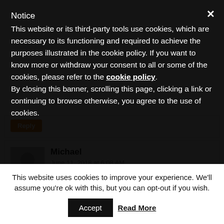Notice
This website or its third-party tools use cookies, which are necessary to its functioning and required to achieve the purposes illustrated in the cookie policy. If you want to know more or withdraw your consent to all or some of the cookies, please refer to the cookie policy. By closing this banner, scrolling this page, clicking a link or continuing to browse otherwise, you agree to the use of cookies.
Michael
June 11, 2018 at 6:08 AM
Drew, Chris, Tress, Thank you! Always appreciate your insights!
This website uses cookies to improve your experience. We'll assume you're ok with this, but you can opt-out if you wish.
Accept   Read More